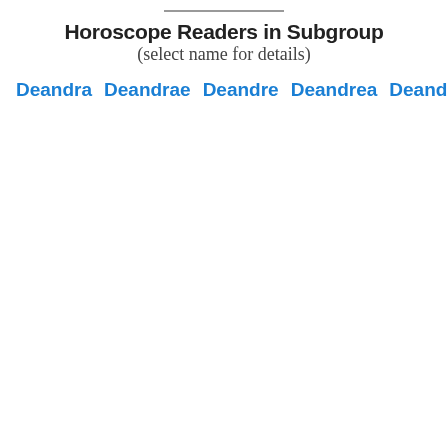Horoscope Readers in Subgroup
(select name for details)
Deandra  Deandrae  Deandre  Deandrea  Deandrew  Deandria  Deane  Deaneen  Deanette  Deangela  Deangelia  Deangelo  Deangleo  Deanglo  Deani  Deania  Deanie  Deanine  Deanise  Deann  Deanna  Deannah  Deanndra  Deanne  Deannea  Deannia  Deannie  Deano  Deante  Deanthony  Deantonio  Deantony  Deantre  Deanza  Deara  Deardra  Deari  Dearia  Dearie  Dearl  Dearld  Dearmond  Dearon  Deasha  Deasia  Deatra  Deatria  Deatrice  Deatrick